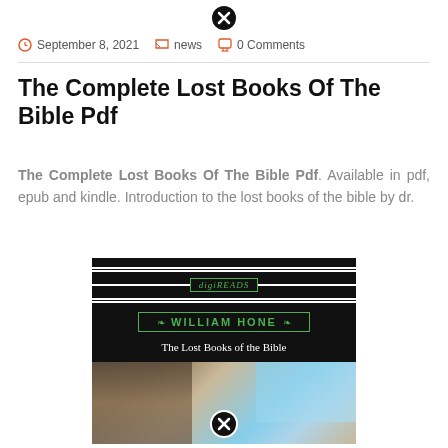[Figure (other): Close/X button circle at the top center of the page]
September 8, 2021   news   0 Comments
The Complete Lost Books Of The Bible Pdf
The Complete Lost Books Of The Bible Pdf. Available in pdf, epub and kindle. Introduction to the lost books of the bible by dr.
[Figure (photo): Book cover for 'The Lost Books of the Bible' by William Hone, published by DigiReads. Black background with green text and border, decorative ornamental lines, followed by a painted image of cherubs/angels in blue sky and architectural ruins scene.]
[Figure (other): Close/X button circle at the bottom center of the page over the book image]